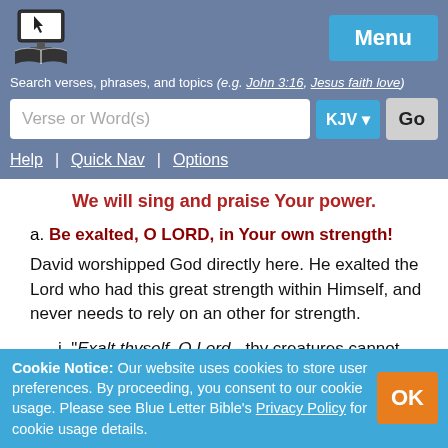[Figure (logo): Blue Letter Bible logo: computer/monitor with open book, black and white icon]
Menu
Search verses, phrases, and topics (e.g. John 3:16, Jesus faith love)
Verse or Word(s)  KJV  Go
Help | Quick Nav | Options
We will sing and praise Your power.
a. Be exalted, O LORD, in Your own strength!
David worshipped God directly here. He exalted the Lord who had this great strength within Himself, and never needs to rely on an other for strength.
i. "Exalt thyself, O Lord - thy creatures cannot
Cookie Notice: Our website uses cookies to store user preferences. By proceeding, you consent to our cookie usage. Please see Blue Letter Bible's Privacy Policy for cookie usage details.